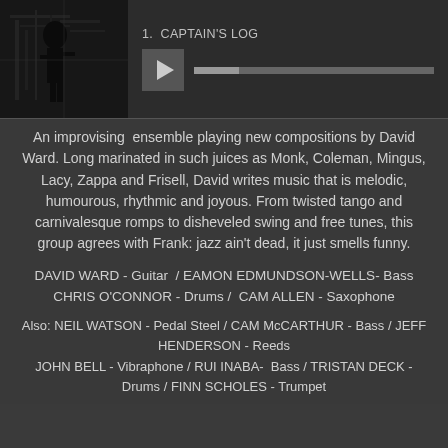[Figure (photo): Album art thumbnail showing a dark silhouette of a musician with instruments, monochrome photo]
[Figure (screenshot): Music player interface showing play button, track title '1. CAPTAIN'S LOG', and progress bar]
An improvising  ensemble playing new compositions by David Ward. Long marinated in such juices as Monk, Coleman, Mingus, Lacy, Zappa and Frisell, David writes music that is melodic, humourous, rhythmic and joyous. From twisted tango and carnivalesque romps to disheveled swing and free tunes, this group agrees with Frank: jazz ain't dead, it just smells funny.
DAVID WARD - Guitar  / EAMON EDMUNDSON-WELLS- Bass
CHRIS O'CONNOR - Drums /  CAM ALLEN - Saxophone
Also: NEIL WATSON - Pedal Steel / CAM McCARTHUR - Bass / JEFF HENDERSON - Reeds
JOHN BELL - Vibraphone / RUI INABA-  Bass / TRISTAN DECK - Drums / FINN SCHOLES - Trumpet